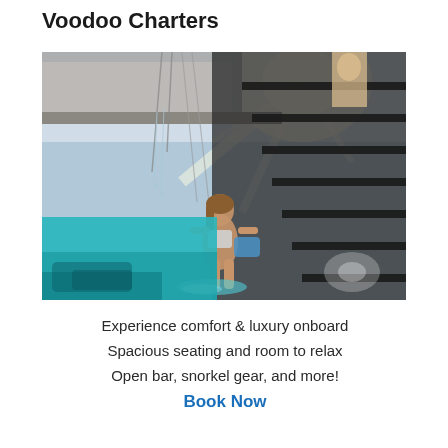Voodoo Charters
[Figure (photo): Person climbing down ladder steps of a boat into turquoise water, shot from below water level, showing the boat hull and sunlight streaming from above]
Experience comfort & luxury onboard
Spacious seating and room to relax
Open bar, snorkel gear, and more!
Book Now